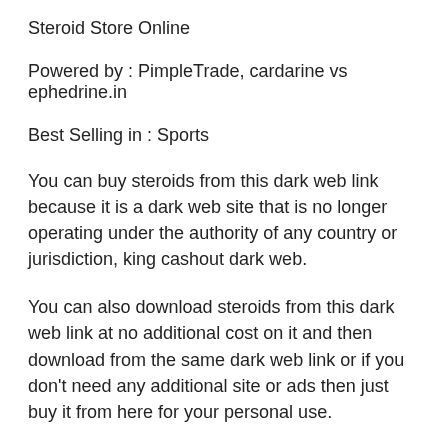Steroid Store Online
Powered by : PimpleTrade, cardarine vs ephedrine.in
Best Selling in : Sports
You can buy steroids from this dark web link because it is a dark web site that is no longer operating under the authority of any country or jurisdiction, king cashout dark web.
You can also download steroids from this dark web link at no additional cost on it and then download from the same dark web link or if you don't need any additional site or ads then just buy it from here for your personal use.
If you are a big fan of steroids then this